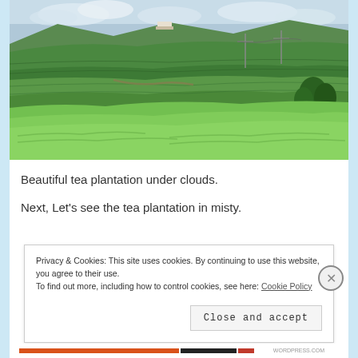[Figure (photo): Photograph of a terraced tea plantation on hillside under cloudy sky, with lush green tea bushes covering the slopes in rows.]
Beautiful tea plantation under clouds.
Next, Let's see the tea plantation in misty.
Privacy & Cookies: This site uses cookies. By continuing to use this website, you agree to their use.
To find out more, including how to control cookies, see here: Cookie Policy
Close and accept